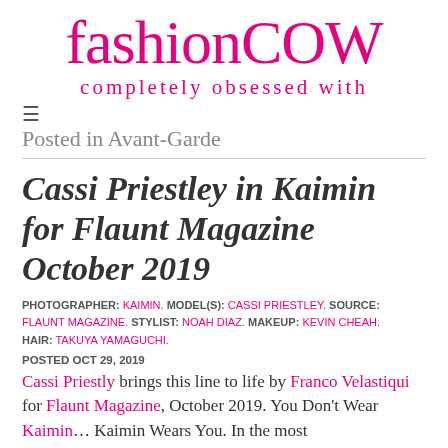fashionCOW
completely obsessed with
≡
Posted in Avant-Garde
Cassi Priestley in Kaimin for Flaunt Magazine October 2019
PHOTOGRAPHER: KAIMIN. MODEL(S): CASSI PRIESTLEY. SOURCE: FLAUNT MAGAZINE. STYLIST: NOAH DIAZ. MAKEUP: KEVIN CHEAH. HAIR: TAKUYA YAMAGUCHI.
POSTED OCT 29, 2019
Cassi Priestly brings this line to life by Franco Velastiqui for Flaunt Magazine, October 2019. You Don't Wear Kaimin… Kaimin Wears You. In the most